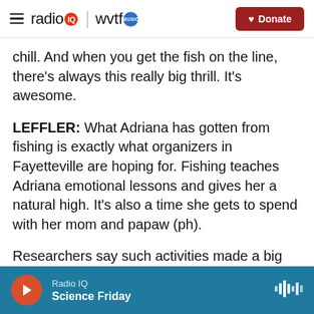radio IQ | wvtf MUSIC — Donate
chill. And when you get the fish on the line, there's always this really big thrill. It's awesome.
LEFFLER: What Adriana has gotten from fishing is exactly what organizers in Fayetteville are hoping for. Fishing teaches Adriana emotional lessons and gives her a natural high. It's also a time she gets to spend with her mom and papaw (ph).
Researchers say such activities made a big difference in Iceland, where the percentage of teens who got drunk at least once a month dropped from 45% to just 5%. Katie Johnson of the
Radio IQ — Science Friday